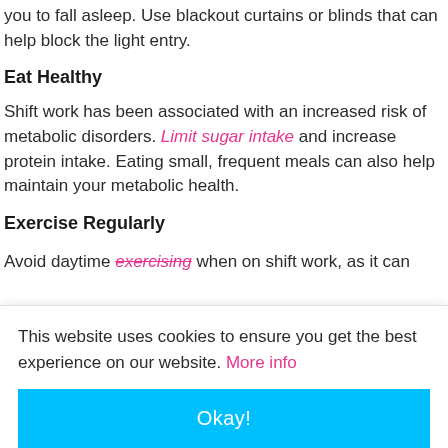you to fall asleep. Use blackout curtains or blinds that can help block the light entry.
Eat Healthy
Shift work has been associated with an increased risk of metabolic disorders. Limit sugar intake and increase protein intake. Eating small, frequent meals can also help maintain your metabolic health.
Exercise Regularly
Avoid daytime exercising when on shift work, as it can
This website uses cookies to ensure you get the best experience on our website. More info
Okay!